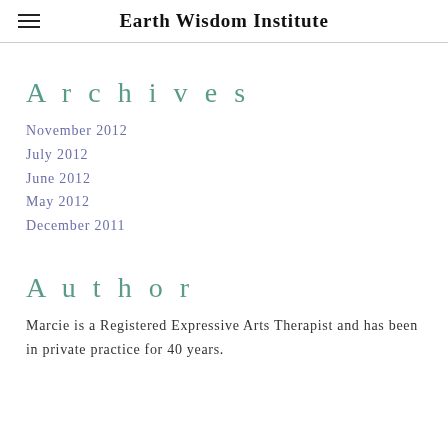Earth Wisdom Institute
Archives
November 2012
July 2012
June 2012
May 2012
December 2011
Author
Marcie is a Registered Expressive Arts Therapist and has been in private practice for 40 years.